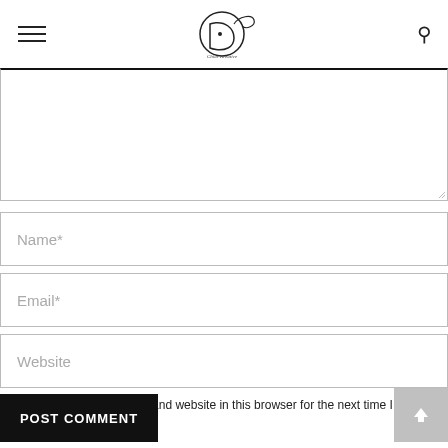[Figure (logo): Stylized cursive 'D' logo with circular swirl design and text beneath]
Name*
Email*
Website
Save my name, email, and website in this browser for the next time I comment.
POST COMMENT